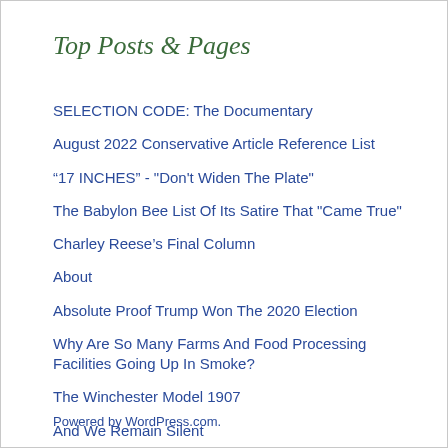Top Posts & Pages
SELECTION CODE: The Documentary
August 2022 Conservative Article Reference List
“17 INCHES” - "Don't Widen The Plate"
The Babylon Bee List Of Its Satire That "Came True"
Charley Reese’s Final Column
About
Absolute Proof Trump Won The 2020 Election
Why Are So Many Farms And Food Processing Facilities Going Up In Smoke?
The Winchester Model 1907
And We Remain Silent
Powered by WordPress.com.